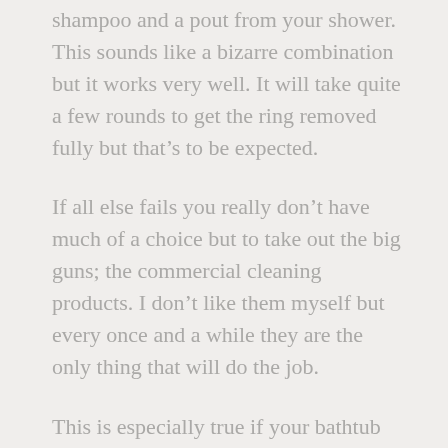shampoo and a pout from your shower. This sounds like a bizarre combination but it works very well. It will take quite a few rounds to get the ring removed fully but that's to be expected.
If all else fails you really don't have much of a choice but to take out the big guns; the commercial cleaning products. I don't like them myself but every once and a while they are the only thing that will do the job.
This is especially true if your bathtub rings have been there